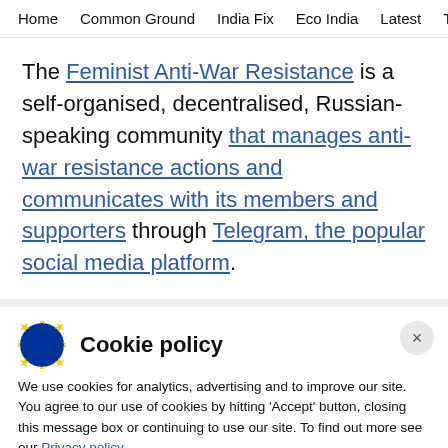Home   Common Ground   India Fix   Eco India   Latest   Th
The Feminist Anti-War Resistance is a self-organised, decentralised, Russian-speaking community that manages anti-war resistance actions and communicates with its members and supporters through Telegram, the popular social media platform.
Cookie policy
We use cookies for analytics, advertising and to improve our site. You agree to our use of cookies by hitting 'Accept' button, closing this message box or continuing to use our site. To find out more see our Privacy policy .
Accept